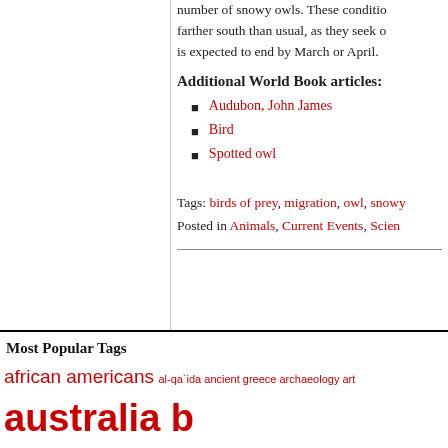number of snowy owls. These conditions force them to travel farther south than usual, as they seek other food sources. This is expected to end by March or April.
Additional World Book articles:
Audubon, John James
Bird
Spotted owl
Tags: birds of prey, migration, owl, snowy
Posted in Animals, Current Events, Scien...
Most Popular Tags
african americans al-qa`ida ancient greece archaeology art australia ba... conservation donald trump earthquake european union france global war... monster monday moon mythic monday mythology nasa new... syrian civil war Terrorism tornado ukraine united kingdom united states vladi...